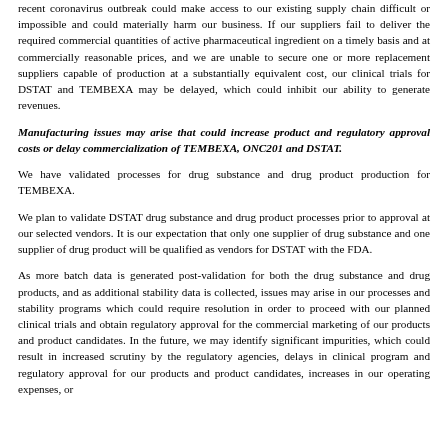recent coronavirus outbreak could make access to our existing supply chain difficult or impossible and could materially harm our business. If our suppliers fail to deliver the required commercial quantities of active pharmaceutical ingredient on a timely basis and at commercially reasonable prices, and we are unable to secure one or more replacement suppliers capable of production at a substantially equivalent cost, our clinical trials for DSTAT and TEMBEXA may be delayed, which could inhibit our ability to generate revenues.
Manufacturing issues may arise that could increase product and regulatory approval costs or delay commercialization of TEMBEXA, ONC201 and DSTAT.
We have validated processes for drug substance and drug product production for TEMBEXA.
We plan to validate DSTAT drug substance and drug product processes prior to approval at our selected vendors. It is our expectation that only one supplier of drug substance and one supplier of drug product will be qualified as vendors for DSTAT with the FDA.
As more batch data is generated post-validation for both the drug substance and drug products, and as additional stability data is collected, issues may arise in our processes and stability programs which could require resolution in order to proceed with our planned clinical trials and obtain regulatory approval for the commercial marketing of our products and product candidates. In the future, we may identify significant impurities, which could result in increased scrutiny by the regulatory agencies, delays in clinical program and regulatory approval for our products and product candidates, increases in our operating expenses, or